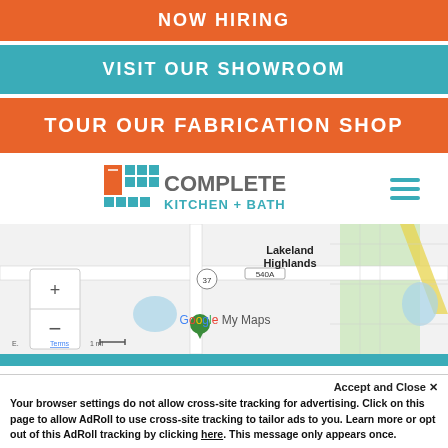NOW HIRING
VISIT OUR SHOWROOM
TOUR OUR FABRICATION SHOP
[Figure (logo): Complete Kitchen + Bath logo with colorful tile icon]
[Figure (map): Google My Maps showing Lakeland Highlands area with route 540A and 37, zoom controls visible]
Accept and Close ✕
Your browser settings do not allow cross-site tracking for advertising. Click on this page to allow AdRoll to use cross-site tracking to tailor ads to you. Learn more or opt out of this AdRoll tracking by clicking here. This message only appears once.